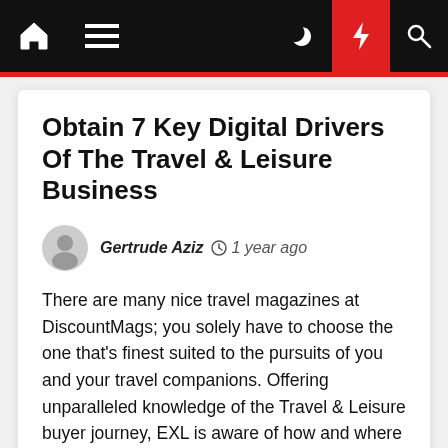Navigation bar with home, menu, moon, lightning, and search icons
Obtain 7 Key Digital Drivers Of The Travel & Leisure Business
Gertrude Aziz  1 year ago
There are many nice travel magazines at DiscountMags; you solely have to choose the one that's finest suited to the pursuits of you and your travel companions. Offering unparalleled knowledge of the Travel & Leisure buyer journey, EXL is aware of how and where to implement digital solutions for a […]